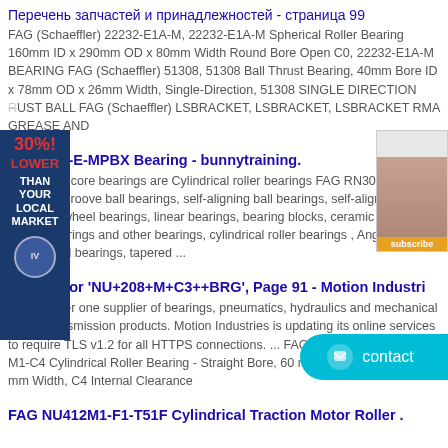Перечень запчастей и принадлежностей - страница 99
FAG (Schaeffler) 22232-E1A-M, 22232-E1A-M Spherical Roller Bearing 160mm ID x 290mm OD x 80mm Width Round Bore Open C0, 22232-E1A-M BEARING FAG (Schaeffler) 51308, 51308 Ball Thrust Bearing, 40mm Bore ID x 78mm OD x 26mm Width, Single-Direction, 51308 SINGLE DIRECTION RUST BALL FAG (Schaeffler) LSBRACKET, LSBRACKET, LSBRACKET RMA GREASE AND
G RN308-E-MPBX Bearing - bunnytraining.
company's core bearings are Cylindrical roller bearings FAG RN308-E-BX, and deep groove ball bearings, self-aligning ball bearings, self-aligning roller bearings, wheel bearings, linear bearings, bearing blocks, ceramic bearings, plastic bearings and other bearings, cylindrical roller bearings , Angular contact ball bearings, tapered ...
Results for 'NU+208+M+C3++BRG', Page 91 - Motion Industri
The number one supplier of bearings, pneumatics, hydraulics and mechanical power transmission products. Motion Industries is updating its online services to require TLS v1.2 for all HTTPS connections. ... FAG (Schaeffler) NU412-M1-C4 Cylindrical Roller Bearing - Straight Bore, 60 mm ID, 150 mm OD, 35 mm Width, C4 Internal Clearance
FAG NU412M1-F1-T51F Cylindrical Traction Motor Roller .